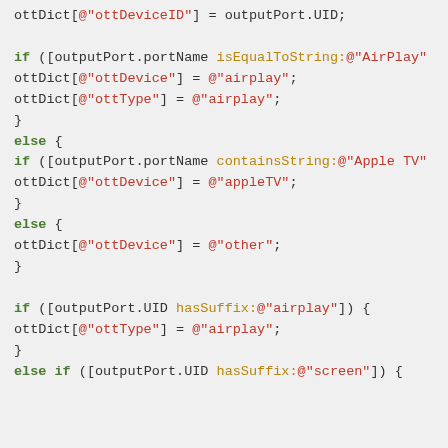ottDict[@"ottDeviceID"] = outputPort.UID;

if ([outputPort.portName isEqualToString:@"AirPlay"
ottDict[@"ottDevice"] = @"airplay";
ottDict[@"ottType"] = @"airplay";
}
else {
if ([outputPort.portName containsString:@"Apple TV"
ottDict[@"ottDevice"] = @"appleTV";
}
else {
ottDict[@"ottDevice"] = @"other";
}

if ([outputPort.UID hasSuffix:@"airplay"]) {
ottDict[@"ottType"] = @"airplay";
}
else if ([outputPort.UID hasSuffix:@"screen"]) {